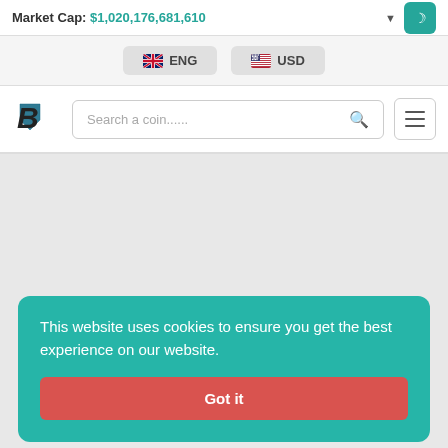Market Cap: $1,020,176,681,610
ENG
USD
[Figure (logo): B logo for cryptocurrency tracking website]
Search a coin......
This website uses cookies to ensure you get the best experience on our website.
Got it